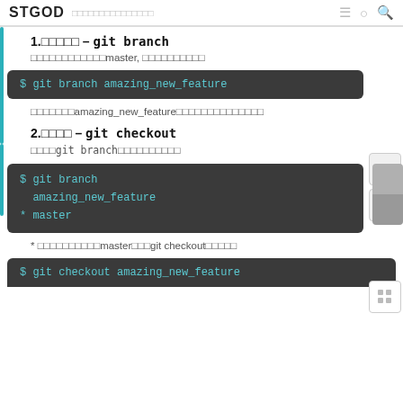STGOD  ≡ ○ 🔍
1.□□□□□ – git branch
□□□□□□□□□□□□master, □□□□□□□□□□
$ git branch amazing_new_feature
□□□□□□□amazing_new_feature□□□□□□□□□□□□□□
2.□□□□ – git checkout
□□□□git branch□□□□□□□□□□
$ git branch
amazing_new_feature
* master
* □□□□□□□□□□master□□□git checkout□□□□□
$ git checkout amazing_new_feature